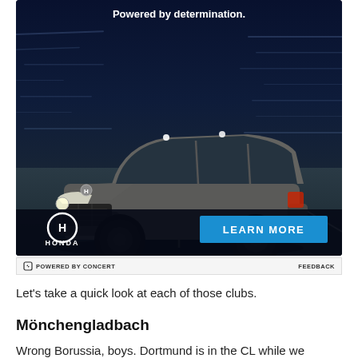[Figure (photo): Honda SUV advertisement. Dark background with motion blur speed streaks. A grey Honda SUV (Honda HR-V or similar) on a road. Text at top reads 'Powered by determination.' Honda logo and 'LEARN MORE' blue button at bottom of ad.]
⚡ POWERED BY CONCERT   FEEDBACK
Let's take a quick look at each of those clubs.
Mönchengladbach
Wrong Borussia, boys. Dortmund is in the CL while we